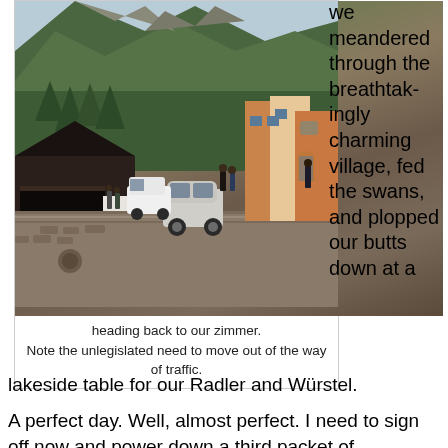[Figure (photo): Street scene in an Alpine village (Hallstatt, Austria). A car drives down a cobblestone road with traditional wooden chalets and colourful buildings on the right, a large dark-roofed garage/building on the left, and steep forested mountains in the background. Pedestrians line the street.]
heading back to our zimmer.
Note the unlegislated need to move out of the way of traffic.
we meandered through the breathtakingly charming village, fed the swans, and plopped our butts down at a lakeside table for our Radler and Würstel.
A perfect day. Well, almost perfect. I need to sign off now and power down a third packet of Metamucil.
Tomorrow, Vienna. Where we'll be for a while.